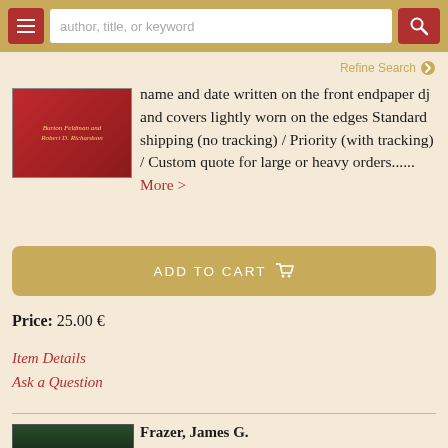author, title, or keyword
Refine Search
name and date written on the front endpaper dj and covers lightly worn on the edges Standard shipping (no tracking) / Priority (with tracking) / Custom quote for large or heavy orders...... More >
ADD TO CART
Price: 25.00 €
Item Details
Ask a Question
Frazer, James G.